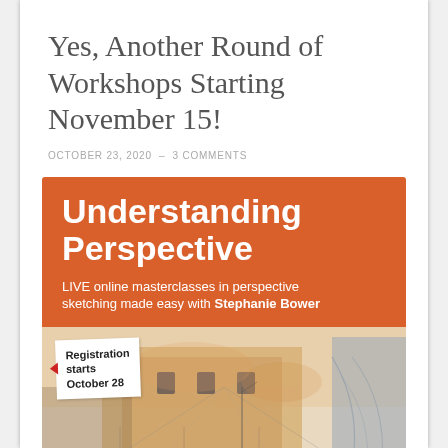Yes, Another Round of Workshops Starting November 15!
OCTOBER 23, 2020 – 3 COMMENTS
[Figure (illustration): Promotional banner for 'Understanding Perspective' LIVE online masterclasses in perspective sketching with Stephanie Bower. Orange header with white bold text, below which is a watercolor architectural sketch of arches and a courtyard. A white tag reads 'Registration starts October 28'.]